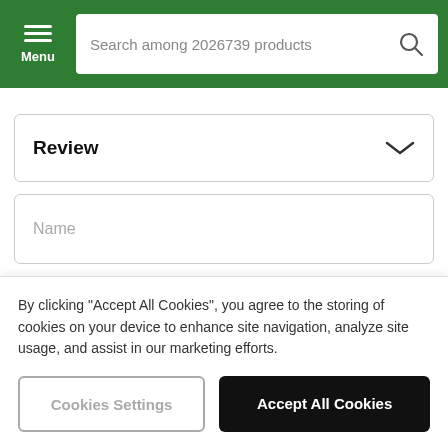Menu | Search among 2026739 products
Review
Name
E-mail
Review headline
By clicking “Accept All Cookies”, you agree to the storing of cookies on your device to enhance site navigation, analyze site usage, and assist in our marketing efforts.
Cookies Settings
Accept All Cookies